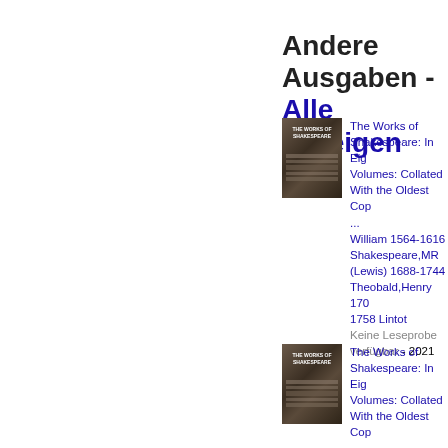Andere Ausgaben - Alle anzeigen
[Figure (photo): Book cover of The Works of Shakespeare]
The Works of Shakespeare: In Eight Volumes: Collated With the Oldest Copies ... William 1564-1616 Shakespeare,MR (Lewis) 1688-1744 Theobald,Henry 1703-1758 Lintot Keine Leseprobe verfügbar - 2021
[Figure (photo): Book cover of The Works of Shakespeare]
The Works of Shakespeare: In Eight Volumes: Collated With the Oldest Copies ...